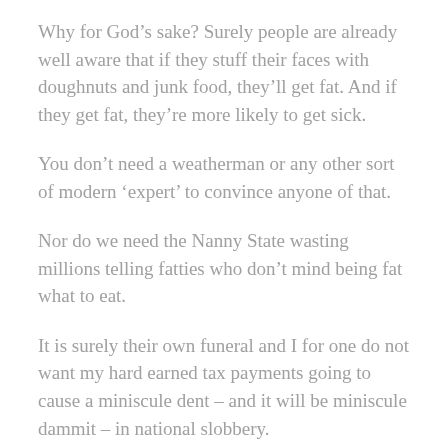Why for God’s sake? Surely people are already well aware that if they stuff their faces with doughnuts and junk food, they’ll get fat. And if they get fat, they’re more likely to get sick.
You don’t need a weatherman or any other sort of modern ‘expert’ to convince anyone of that.
Nor do we need the Nanny State wasting millions telling fatties who don’t mind being fat what to eat.
It is surely their own funeral and I for one do not want my hard earned tax payments going to cause a miniscule dent – and it will be miniscule dammit – in national slobbery.
Every one of us should have the freedom to make our own choices in life. If people do not mind being fat,